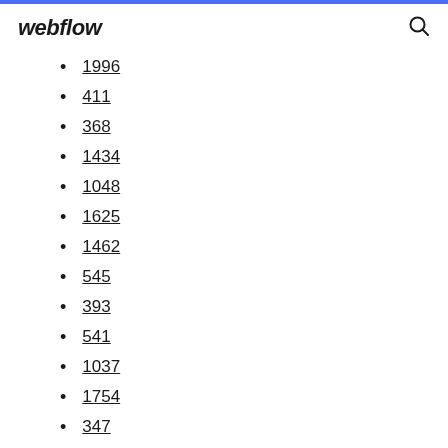webflow
1996
411
368
1434
1048
1625
1462
545
393
541
1037
1754
347